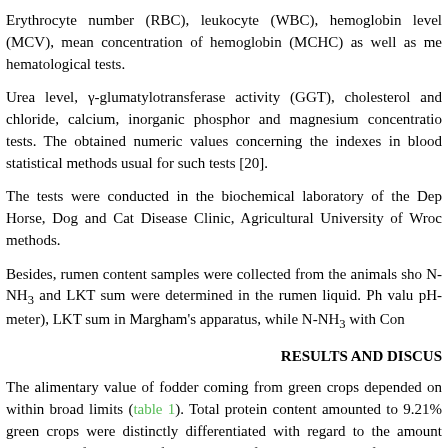Erythrocyte number (RBC), leukocyte (WBC), hemoglobin level (MCV), mean concentration of hemoglobin (MCHC) as well as me hematological tests.
Urea level, γ-glumatylotransferase activity (GGT), cholesterol and chloride, calcium, inorganic phosphor and magnesium concentratio tests. The obtained numeric values concerning the indexes in blood statistical methods usual for such tests [20].
The tests were conducted in the biochemical laboratory of the Dep Horse, Dog and Cat Disease Clinic, Agricultural University of Wroc methods.
Besides, rumen content samples were collected from the animals sho N-NH₃ and LKT sum were determined in the rumen liquid. Ph valu pH-meter), LKT sum in Margham's apparatus, while N-NH₃ with Con
RESULTS AND DISCUS
The alimentary value of fodder coming from green crops depended on within broad limits (table 1). Total protein content amounted to 9.21% green crops were distinctly differentiated with regard to the amount protein was found in the fodder coming from permanent turf, over 15% 5.8% of dry matter, in sedge community.